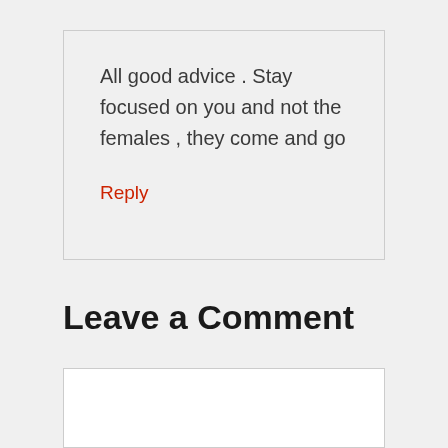All good advice . Stay focused on you and not the females , they come and go
Reply
Leave a Comment